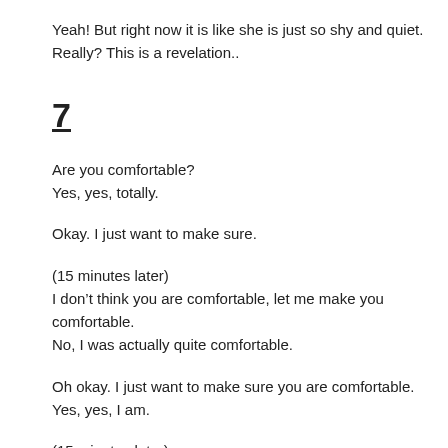Yeah! But right now it is like she is just so shy and quiet.
Really? This is a revelation..
7
Are you comfortable?
Yes, yes, totally.
Okay. I just want to make sure.
(15 minutes later)
I don’t think you are comfortable, let me make you comfortable.
No, I was actually quite comfortable.
Oh okay. I just want to make sure you are comfortable.
Yes, yes, I am.
(15 minutes later)
Wait, let me make you comfortable.